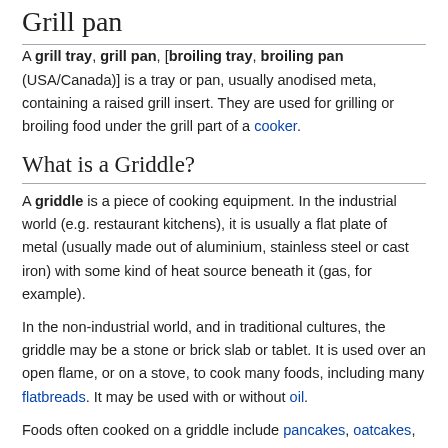Grill pan
A grill tray, grill pan, [broiling tray, broiling pan (USA/Canada)] is a tray or pan, usually anodised meta, containing a raised grill insert. They are used for grilling or broiling food under the grill part of a cooker.
What is a Griddle?
A griddle is a piece of cooking equipment. In the industrial world (e.g. restaurant kitchens), it is usually a flat plate of metal (usually made out of aluminium, stainless steel or cast iron) with some kind of heat source beneath it (gas, for example).
In the non-industrial world, and in traditional cultures, the griddle may be a stone or brick slab or tablet. It is used over an open flame, or on a stove, to cook many foods, including many flatbreads. It may be used with or without oil.
Foods often cooked on a griddle include pancakes, oatcakes,